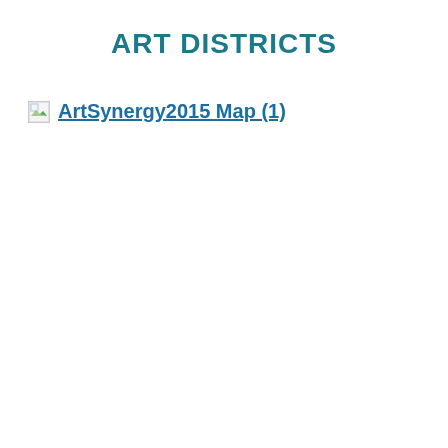ART DISTRICTS
ArtSynergy2015 Map (1)